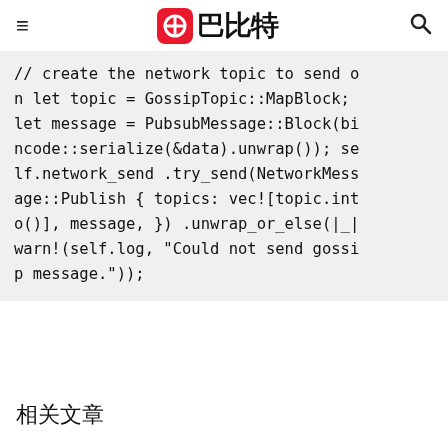巴比特
// create the network topic to send on let topic = GossipTopic::MapBlock; let message = PubsubMessage::Block(bincode::serialize(&data).unwrap()); self.network_send .try_send(NetworkMessage::Publish { topics: vec![topic.into()], message, }) .unwrap_or_else(|_| warn!(self.log, "Could not send gossip message."));
相关文章